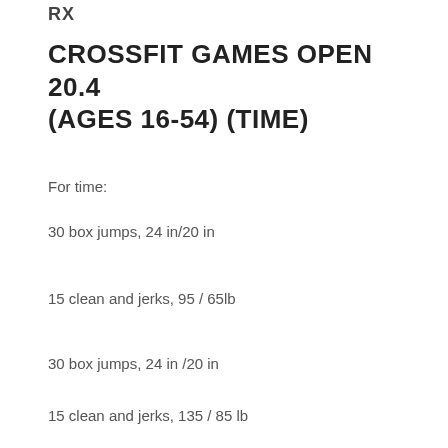RX
CROSSFIT GAMES OPEN 20.4 (AGES 16-54) (TIME)
For time:
30 box jumps, 24 in/20 in
15 clean and jerks, 95 / 65lb
30 box jumps, 24 in /20 in
15 clean and jerks, 135 / 85 lb